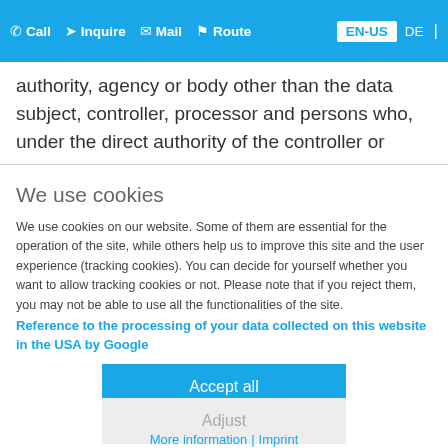Call  Inquire  Mail  Route  EN-US  DE
authority, agency or body other than the data subject, controller, processor and persons who, under the direct authority of the controller or
We use cookies
We use cookies on our website. Some of them are essential for the operation of the site, while others help us to improve this site and the user experience (tracking cookies). You can decide for yourself whether you want to allow tracking cookies or not. Please note that if you reject them, you may not be able to use all the functionalities of the site.
Reference to the processing of your data collected on this website in the USA by Google
Accept all
Adjust
More information | Imprint